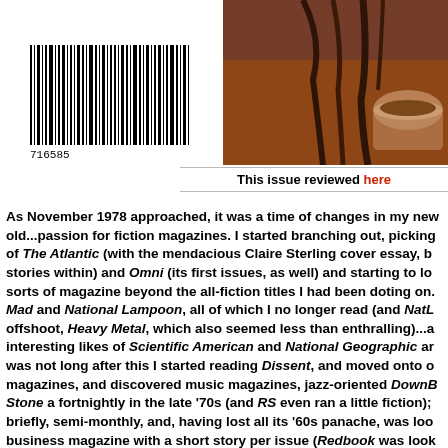[Figure (photo): Barcode image with number 716585 and a food/coffee photograph on the right]
This issue reviewed here
As November 1978 approached, it was a time of changes in my new old...passion for fiction magazines. I started branching out, picking of The Atlantic (with the mendacious Claire Sterling cover essay, b stories within) and Omni (its first issues, as well) and starting to lo sorts of magazine beyond the all-fiction titles I had been doting on. Mad and National Lampoon, all of which I no longer read (and NatL offshoot, Heavy Metal, which also seemed less than enthralling)...a interesting likes of Scientific American and National Geographic ar was not long after this I started reading Dissent, and moved onto o magazines, and discovered music magazines, jazz-oriented DownB Stone a fortnightly in the late '70s (and RS even ran a little fiction); briefly, semi-monthly, and, having lost all its '60s panache, was loo business magazine with a short story per issue (Redbook was look dowdy, albeit with more fiction)...meanwhile, all unknown to me, se were about to fold or undergo serious transition, as Ben Bova left A White walked away from Fantastic and Amazing and sat down at H while, Galaxy would soon fold as would Fantastic and UnEarth and Asimov's SF Adventure (and Far West...it was easy to be the Leadi